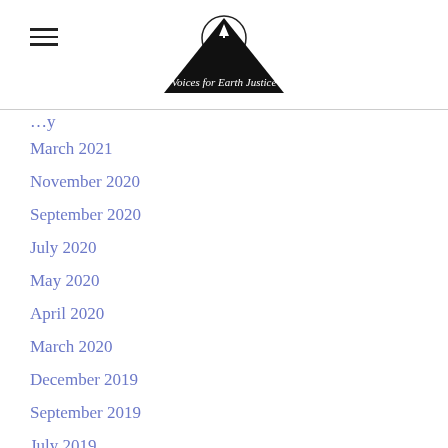Voices for Earth Justice
March 2021
November 2020
September 2020
July 2020
May 2020
April 2020
March 2020
December 2019
September 2019
July 2019
June 2019
May 2019
April 2019
March 2019
February 2019
December 2018
November 2018